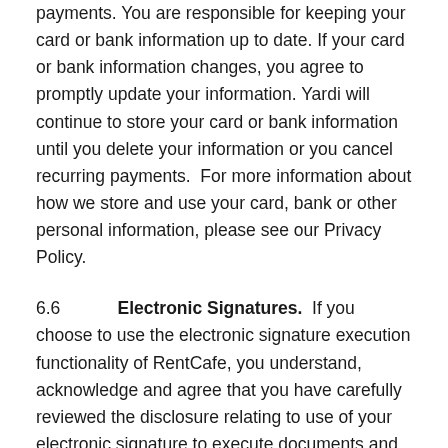payments. You are responsible for keeping your card or bank information up to date. If your card or bank information changes, you agree to promptly update your information. Yardi will continue to store your card or bank information until you delete your information or you cancel recurring payments.  For more information about how we store and use your card, bank or other personal information, please see our Privacy Policy.
6.6   Electronic Signatures.  If you choose to use the electronic signature execution functionality of RentCafe, you understand, acknowledge and agree that you have carefully reviewed the disclosure relating to use of your electronic signature to execute documents and will not execute such documents with your electronic signature without providing your consent to use your electronic signature. You agree that you will rely on your own legal